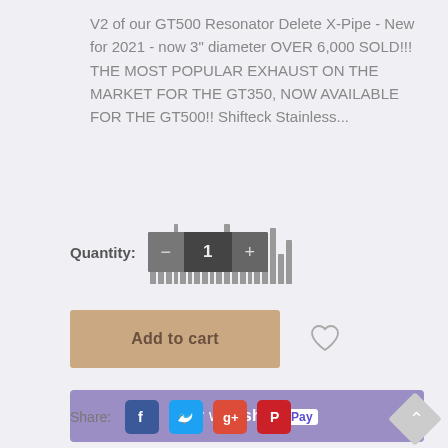V2 of our GT500 Resonator Delete X-Pipe - New for 2021 - now 3" diameter OVER 6,000 SOLD!!! THE MOST POPULAR EXHAUST ON THE MARKET FOR THE GT350, NOW AVAILABLE FOR THE GT500!! Shifteck Stainless...
Quantity: 1
[Figure (screenshot): Quantity selector widget with minus button, value '1', and plus button, with barcode-like vertical bars in background]
[Figure (infographic): Add to cart button (tan/beige color) and a heart/wishlist icon]
[Figure (infographic): Buy with Shop Pay button in purple]
Share:
[Figure (infographic): Social share icons: Facebook, Twitter, Google+, Pinterest]